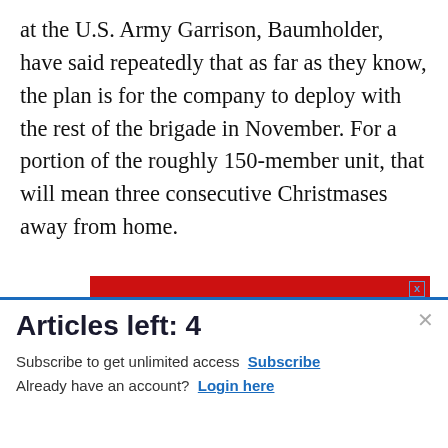at the U.S. Army Garrison, Baumholder, have said repeatedly that as far as they know, the plan is for the company to deploy with the rest of the brigade in November. For a portion of the roughly 150-member unit, that will mean three consecutive Christmases away from home.
[Figure (screenshot): Advertisement banner for togetherweserved.com with red background and white bold text]
[Figure (screenshot): Advertisement for Commissary Click2Go service showing logo and order groceries text]
Articles left: 4
Subscribe to get unlimited access Subscribe
Already have an account? Login here